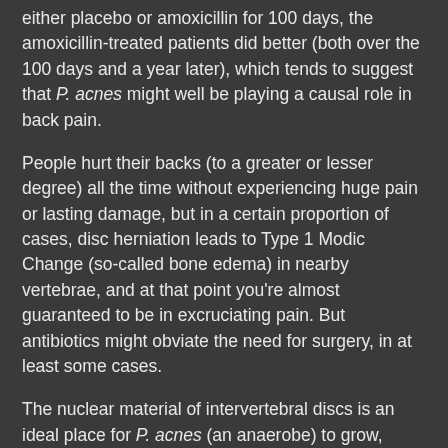either placebo or amoxicillin for 100 days, the amoxicillin-treated patients did better (both over the 100 days and a year later), which tends to suggest that P. acnes might well be playing a causal role in back pain.
People hurt their backs (to a greater or lesser degree) all the time without experiencing huge pain or lasting damage, but in a certain proportion of cases, disc herniation leads to Type 1 Modic Change (so-called bone edema) in nearby vertebrae, and at that point you're almost guaranteed to be in excruciating pain. But antibiotics might obviate the need for surgery, in at least some cases.
The nuclear material of intervertebral discs is an ideal place for P. acnes (an anaerobe) to grow, because it's warm, nutrient-rich, and (with no vascular content) oxygen-depleted. The question of how P. acnes finds its way into a disc in the first place is an interesting one (which I discuss in my post at Big Think). The short answer is, there's a ton of P. acnes in your mouth, especially if you happen to be (how shall we say?) not very attentive to oral hygiene, and bacteria can enter the bloodstream directly via the gums